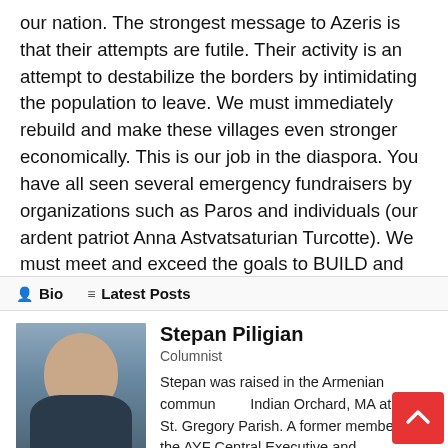our nation. The strongest message to Azeris is that their attempts are futile. Their activity is an attempt to destabilize the borders by intimidating the population to leave. We must immediately rebuild and make these villages even stronger economically. This is our job in the diaspora. You have all seen several emergency fundraisers by organizations such as Paros and individuals (our ardent patriot Anna Astvatsaturian Turcotte). We must meet and exceed the goals to BUILD and give a clear message to our brethren and the AZERBAIJANIS. We are not going anywhere. Our history has been a case study of overcoming oppression and prevailing. Today is no exception.
Bio   Latest Posts
[Figure (photo): Portrait photo of Stepan Piligian, a middle-aged man with glasses and a beard wearing a suit]
Stepan Piligian
Columnist
Stepan was raised in the Armenian community of Indian Orchard, MA at the St. Gregory Parish. A former member of the AYF Central Executive and